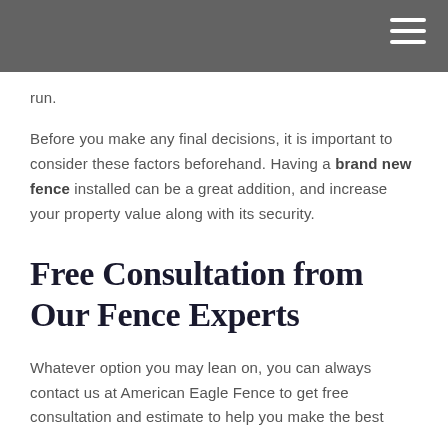run.
Before you make any final decisions, it is important to consider these factors beforehand. Having a brand new fence installed can be a great addition, and increase your property value along with its security.
Free Consultation from Our Fence Experts
Whatever option you may lean on, you can always contact us at American Eagle Fence to get free consultation and estimate to help you make the best